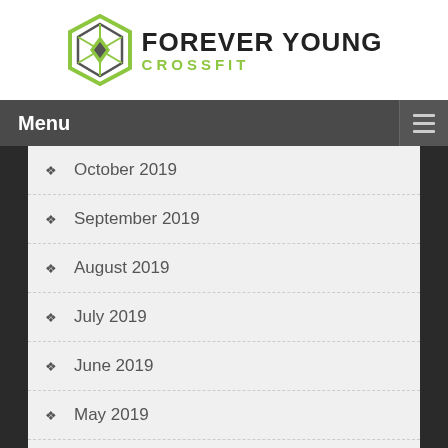[Figure (logo): Forever Young Crossfit logo with green geometric hexagon icon and bold text]
Menu
October 2019
September 2019
August 2019
July 2019
June 2019
May 2019
April 2019
March 2019
February 2019